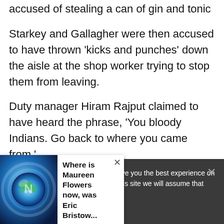accused of stealing a can of gin and tonic
Starkey and Gallagher were then accused to have thrown 'kicks and punches' down the aisle at the shop worker trying to stop them from leaving.
Duty manager Hiram Rajput claimed to have heard the phrase, 'You bloody Indians. Go back to where you came from.'
However, this was denied by Gallagher and Ponte at an earlier hearing, with Ponte's representative claiming they said 'bloody idiots'.
We use cookies to ensure that we give you the best experience on our website. If you continue to use this site we will assume that you
[Figure (illustration): Popup overlay with globe/news illustration on the left and bold text 'Where is Maureen Flowers now, was Eric Bristow...' on the right, with a close X button.]